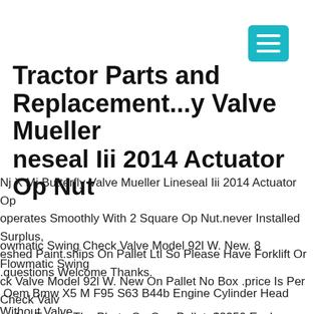[Figure (other): Teal/cyan hamburger menu button icon in top right corner]
Tractor Parts and Replacement...y Valve Mueller Lineseal Iii 2014 Actuator Op Nut
Nj X Mj Butterfly Valve Mueller Lineseal Iii 2014 Actuator Op operates Smoothly With 2 Square Op Nut.never Installed Surplus, eshed Paint.ships On Pallet Ltl So Please Have Forklift Or .questions Welcome Thanks.
owmatic Swing Check Valve Model 92l W. New. 8 Flowmatic Swing ck Valve Model 92l W. New On Pallet No Box .price Is Per Check Valv re Are Two In The Photo On One Pallet .$2350 Each .
Oem Bmw X5 M F95 S63 B44b Engine Cylinder Head Without Valve r Bank 2 5-8. Weber-cars Gmbh Here You Can Find Spare Parts For V , Vw Or Bmw At Fair Prices 3,000 Square Meters Of Storage Space .